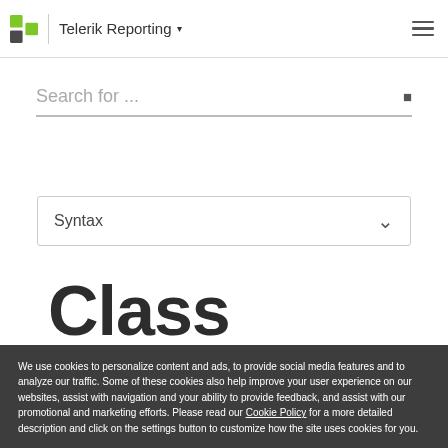Telerik Reporting
Search for ...
Syntax
Class ReportParamet
We use cookies to personalize content and ads, to provide social media features and to analyze our traffic. Some of these cookies also help improve your user experience on our websites, assist with navigation and your ability to provide feedback, and assist with our promotional and marketing efforts. Please read our Cookie Policy for a more detailed description and click on the settings button to customize how the site uses cookies for you.